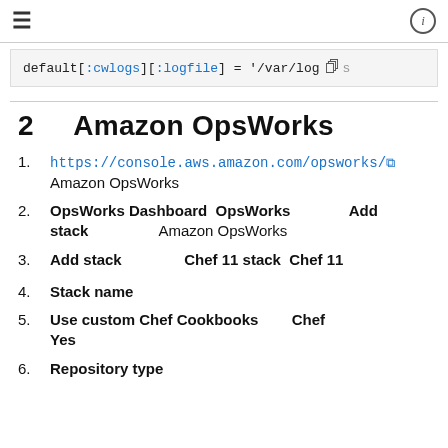≡   [navigation header with info icon]
default[:cwlogs][:logfile] = '/var/log
2  Amazon OpsWorks
1. https://console.aws.amazon.com/opsworks/ [external link]
   Amazon OpsWorks
2. OpsWorks Dashboard  OpsWorks  Add stack  Amazon OpsWorks
3. Add stack  Chef 11 stack  Chef 11
4. Stack name
5. Use custom Chef Cookbooks  Chef
   Yes
6. Repository type